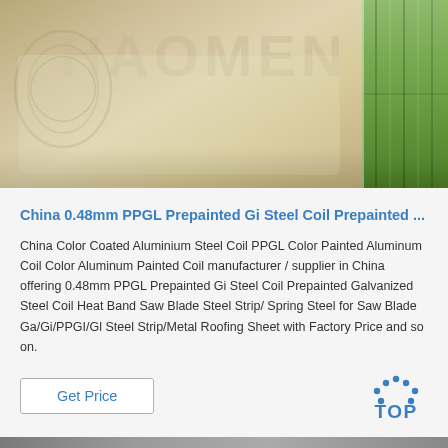[Figure (photo): Product photo showing prepainted steel coil with plastic wrapping on left side with HAOMEN watermark text, and green painted steel panels on the right side]
China 0.48mm PPGL Prepainted Gi Steel Coil Prepainted ...
China Color Coated Aluminium Steel Coil PPGL Color Painted Aluminum Coil Color Aluminum Painted Coil manufacturer / supplier in China offering 0.48mm PPGL Prepainted Gi Steel Coil Prepainted Galvanized Steel Coil Heat Band Saw Blade Steel Strip/ Spring Steel for Saw Blade Ga/Gi/PPGI/Gl Steel Strip/Metal Roofing Sheet with Factory Price and so on.
Get Price
[Figure (logo): TOP badge with blue dots arranged in arc above the word TOP in blue letters]
[Figure (photo): Bottom strip showing another product image partially visible]